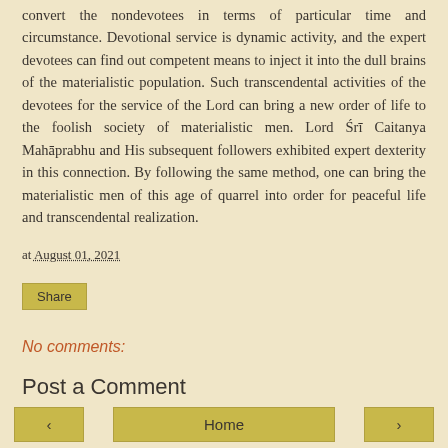convert the nondevotees in terms of particular time and circumstance. Devotional service is dynamic activity, and the expert devotees can find out competent means to inject it into the dull brains of the materialistic population. Such transcendental activities of the devotees for the service of the Lord can bring a new order of life to the foolish society of materialistic men. Lord Śrī Caitanya Mahāprabhu and His subsequent followers exhibited expert dexterity in this connection. By following the same method, one can bring the materialistic men of this age of quarrel into order for peaceful life and transcendental realization.
at August 01, 2021
Share
No comments:
Post a Comment
‹  Home  ›